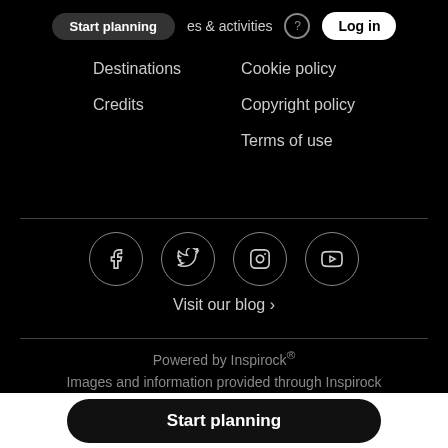Start planning | places & activities | Log in
Destinations
Credits
Cookie policy
Copyright policy
Terms of use
[Figure (infographic): Social media icons in circles: Facebook, Twitter, Instagram, YouTube]
Visit our blog ›
Powered by Inspirock®
Images and information provided through Inspirock ® Greece Trip Planner
Start planning